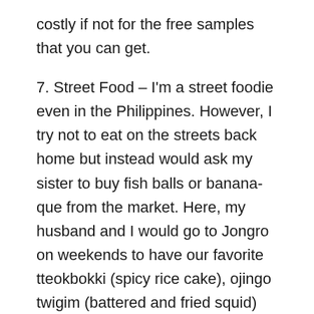costly if not for the free samples that you can get.
7. Street Food – I'm a street foodie even in the Philippines. However, I try not to eat on the streets back home but instead would ask my sister to buy fish balls or banana-que from the market. Here, my husband and I would go to Jongro on weekends to have our favorite tteokbokki (spicy rice cake), ojingo twigim (battered and fried squid) and odaeng (fish cake). While I buy ddalk kkochi (chicken barbeque) and ho ddeok (Chinese pancake) near a seller in Dongdaemun.
8. Museums, Parks, Palaces – I would've listed this as my number 1 since I'm a museum goer. However, I've been to Washington DC and New York City and the museums there (and of course Central Park) are just superb